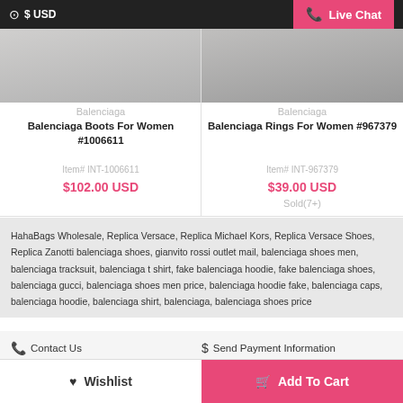$ USD | Live Chat
Balenciaga
Balenciaga Boots For Women #1006611
Item# INT-1006611
$102.00 USD
Balenciaga
Balenciaga Rings For Women #967379
Item# INT-967379
$39.00 USD
Sold(7+)
HahaBags Wholesale, Replica Versace, Replica Michael Kors, Replica Versace Shoes, Replica Zanotti balenciaga shoes, gianvito rossi outlet mail, balenciaga shoes men, balenciaga tracksuit, balenciaga t shirt, fake balenciaga hoodie, fake balenciaga shoes, balenciaga gucci, balenciaga shoes men price, balenciaga hoodie fake, balenciaga caps, balenciaga hoodie, balenciaga shirt, balenciaga, balenciaga shoes price
Contact Us
Send Payment Information
How To Select Size?
Shipping Guide
Return & Exchange
Wholesale & Discount
Customized Solutions
Wishlist
Add To Cart